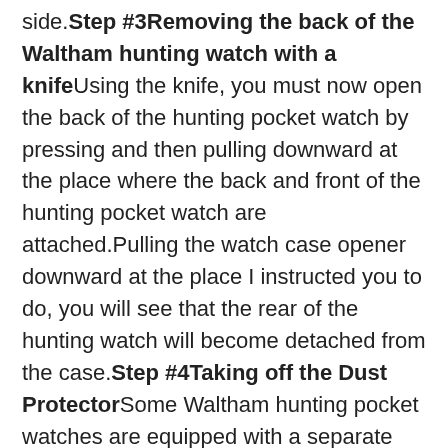side. Step #3Removing the back of the Waltham hunting watch with a knife Using the knife, you must now open the back of the hunting pocket watch by pressing and then pulling downward at the place where the back and front of the hunting pocket watch are attached. Pulling the watch case opener downward at the place I instructed you to do, you will see that the rear of the hunting watch will become detached from the case. Step #4Taking off the Dust Protector Some Waltham hunting pocket watches are equipped with a separate dust guard located behind the rear of the watch. It may be messed up within the watch. As a result, use a screwdriver to open the dust cover on your watch casing.
How To Change The Battery of a Waltham Hunting Pocket Watch?
If your Waltham hunting pocket watch runs on battery. So, In order to change the battery of a